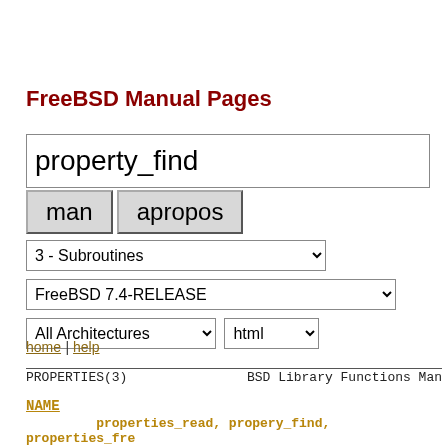FreeBSD Manual Pages
property_find [search input field]
man | apropos [buttons]
3 - Subroutines [dropdown]
FreeBSD 7.4-RELEASE [dropdown]
All Architectures [dropdown] | html [dropdown]
home | help
PROPERTIES(3)       BSD Library Functions Man
NAME
properties_read, propery_find, properties_fre  ating simple property lists from ASCII file o